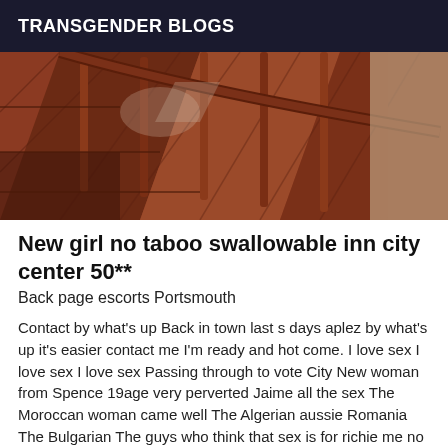TRANSGENDER BLOGS
[Figure (photo): Close-up photo of wooden staircase railing and steps with warm reddish-brown wood tones]
New girl no taboo swallowable inn city center 50**
Back page escorts Portsmouth
Contact by what's up Back in town last s days aplez by what's up it's easier contact me I'm ready and hot come. I love sex I love sex I love sex Passing through to vote City New woman from Spence 19age very perverted Jaime all the sex The Moroccan woman came well The Algerian aussie Romania The Bulgarian The guys who think that sex is for richie me no *'s I wait around lond é pAs restrincionws Aplez moi Mtn On what's up okay I